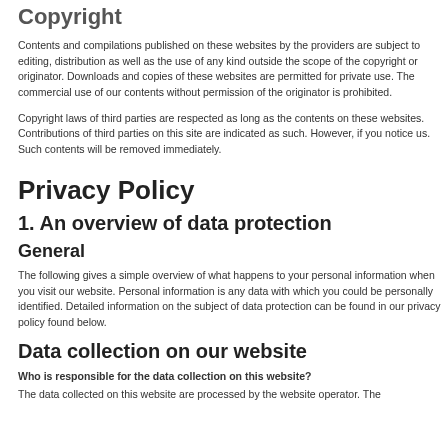Copyright
Contents and compilations published on these websites by the providers are subject to editing, distribution as well as the use of any kind outside the scope of the copyright or originator. Downloads and copies of these websites are permitted for private use. The commercial use of our contents without permission of the originator is prohibited.
Copyright laws of third parties are respected as long as the contents on these websites. Contributions of third parties on this site are indicated as such. However, if you notice us. Such contents will be removed immediately.
Privacy Policy
1. An overview of data protection
General
The following gives a simple overview of what happens to your personal information when you visit our website. Personal information is any data with which you could be personally identified. Detailed information on the subject of data protection can be found in our privacy policy found below.
Data collection on our website
Who is responsible for the data collection on this website?
The data collected on this website are processed by the website operator. The